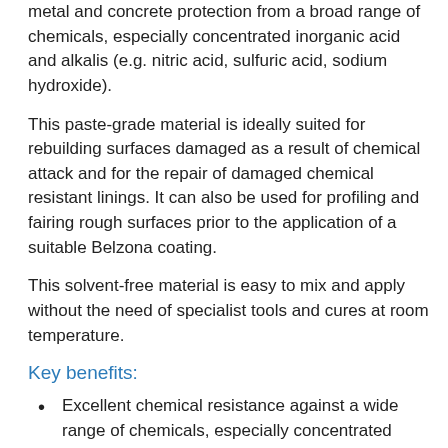metal and concrete protection from a broad range of chemicals, especially concentrated inorganic acid and alkalis (e.g. nitric acid, sulfuric acid, sodium hydroxide).
This paste-grade material is ideally suited for rebuilding surfaces damaged as a result of chemical attack and for the repair of damaged chemical resistant linings. It can also be used for profiling and fairing rough surfaces prior to the application of a suitable Belzona coating.
This solvent-free material is easy to mix and apply without the need of specialist tools and cures at room temperature.
Key benefits:
Excellent chemical resistance against a wide range of chemicals, especially concentrated inorganic acids and alkalis
Easy to mix and apply with no specialist tools
Reduced health and safety risks as it is solvent-free